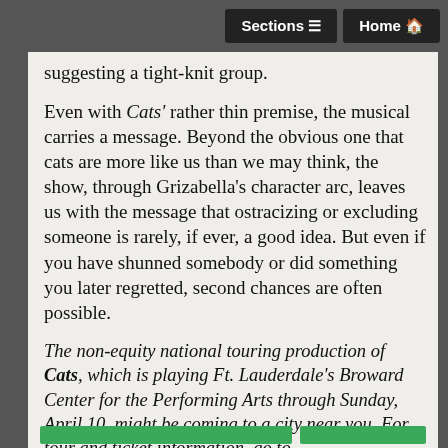Sections  Home
suggesting a tight-knit group.
Even with Cats' rather thin premise, the musical carries a message. Beyond the obvious one that cats are more like us than we may think, the show, through Grizabella's character arc, leaves us with the message that ostracizing or excluding someone is rarely, if ever, a good idea. But even if you have shunned somebody or did something you later regretted, second chances are often possible.
The non-equity national touring production of Cats, which is playing Ft. Lauderdale's Broward Center for the Performing Arts through Sunday, April 10, might be coming to a city near you. For tour and ticket information, go to https://ustour.catsthemusical.com/tickets.